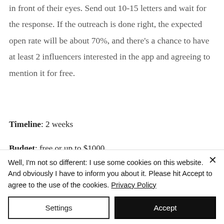in front of their eyes. Send out 10-15 letters and wait for the response. If the outreach is done right, the expected open rate will be about 70%, and there's a chance to have at least 2 influencers interested in the app and agreeing to mention it for free.
Timeline: 2 weeks
Budget: free or up to $1000
Result: based on data on influencer's
Well, I'm not so different: I use some cookies on this website. And obviously I have to inform you about it. Please hit Accept to agree to the use of the cookies. Privacy Policy
Settings
Accept